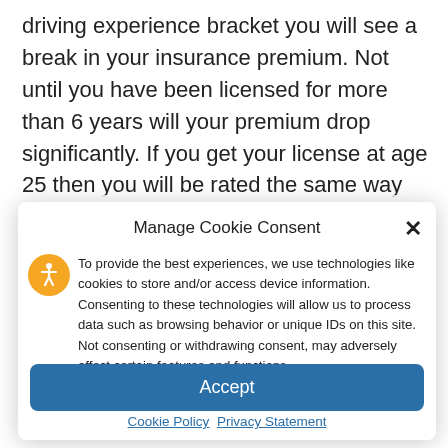driving experience bracket you will see a break in your insurance premium. Not until you have been licensed for more than 6 years will your premium drop significantly. If you get your license at age 25 then you will be rated the same way that a 16 year old would.
Manage Cookie Consent
To provide the best experiences, we use technologies like cookies to store and/or access device information. Consenting to these technologies will allow us to process data such as browsing behavior or unique IDs on this site. Not consenting or withdrawing consent, may adversely affect certain features and functions.
Accept
Cookie Policy  Privacy Statement